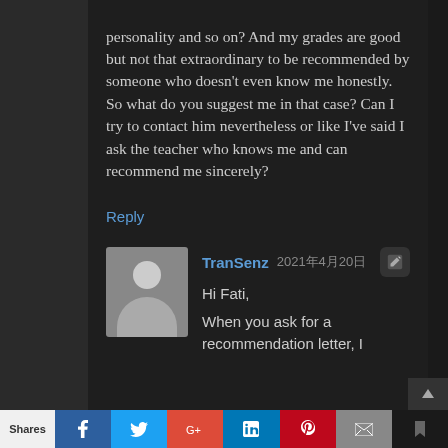personality and so on? And my grades are good but not that extraordinary to be recommended by someone who doesn't even know me honestly. So what do you suggest me in that case? Can I try to contact him nevertheless or like I've said I ask the teacher who knows me and can recommend me sincerely?
Reply
TranSenz 2021年4月20日
Hi Fati,
When you ask for a recommendation letter, I
Shares | f | t | G+ | in | P | mail | bookmark